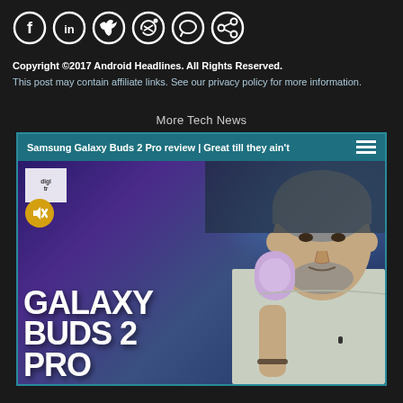[Figure (other): Row of social media sharing icons (Facebook, LinkedIn, Twitter, Reddit, chat/comment, link) as white circles with icons on dark background]
Copyright ©2017 Android Headlines. All Rights Reserved.
This post may contain affiliate links. See our privacy policy for more information.
More Tech News
[Figure (screenshot): Video card showing Samsung Galaxy Buds 2 Pro review titled 'Samsung Galaxy Buds 2 Pro review | Great till they ain't' with thumbnail of man holding purple earbud case with text GALAXY BUDS 2 PRO]